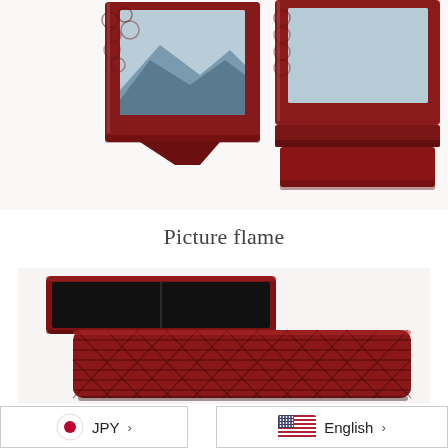[Figure (photo): Red lacquerware picture frames with carved floral pattern, standing upright on white background]
Picture flame
[Figure (photo): Red lacquerware box with woven basket weave pattern lid, shown open with black velvet interior tray, on white background]
JPY  ›    English  ›